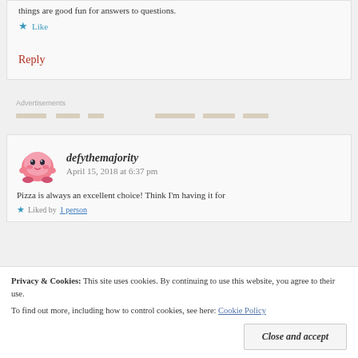things are good fun for answers to questions.
Like
Reply
Advertisements
defythemajority
April 15, 2018 at 6:37 pm
Pizza is always an excellent choice! Think I'm having it for
Liked by 1 person
Privacy & Cookies: This site uses cookies. By continuing to use this website, you agree to their use. To find out more, including how to control cookies, see here: Cookie Policy
Close and accept